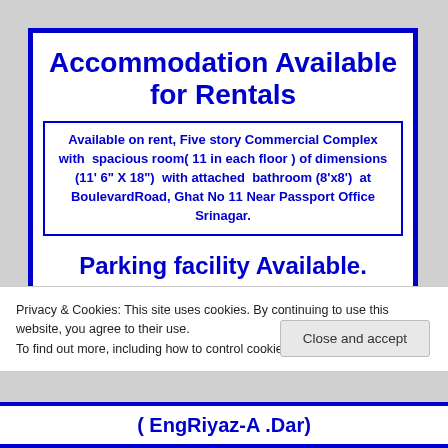Accommodation Available for Rentals
Available on rent, Five story Commercial Complex with spacious room( 11 in each floor ) of dimensions (11' 6" X 18") with attached bathroom (8'x8') at BoulevardRoad, Ghat No 11 Near Passport Office Srinagar.
Parking facility Available.
Popularly known as the Old Sicop Building
Privacy & Cookies: This site uses cookies. By continuing to use this website, you agree to their use.
To find out more, including how to control cookies, see here: Cookie Policy
Close and accept
( EngRiyaz-A .Dar)